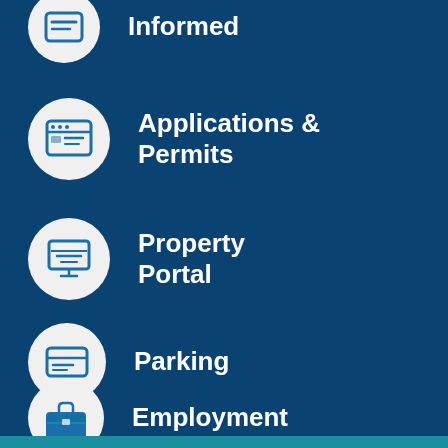Informed
Applications & Permits
Property Portal
Parking
Employment